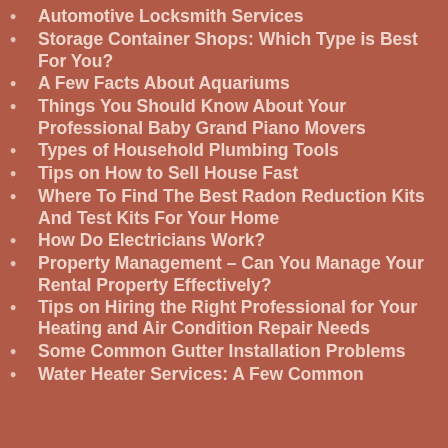Automotive Locksmith Services
Storage Container Shops: Which Type is Best For You?
A Few Facts About Aquariums
Things You Should Know About Your Professional Baby Grand Piano Movers
Types of Household Plumbing Tools
Tips on How to Sell House Fast
Where To Find The Best Radon Reduction Kits And Test Kits For Your Home
How Do Electricians Work?
Property Management – Can You Manage Your Rental Property Effectively?
Tips on Hiring the Right Professional for Your Heating and Air Condition Repair Needs
Some Common Gutter Installation Problems
Water Heater Services: A Few Common